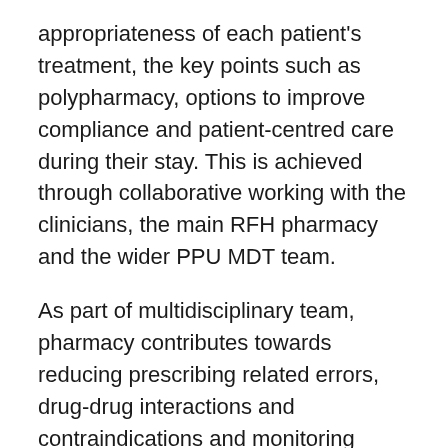appropriateness of each patient's treatment, the key points such as polypharmacy, options to improve compliance and patient-centred care during their stay. This is achieved through collaborative working with the clinicians, the main RFH pharmacy and the wider PPU MDT team.
As part of multidisciplinary team, pharmacy contributes towards reducing prescribing related errors, drug-drug interactions and contraindications and monitoring therapeutic responses. We can significantly improve appropriate prescribing and expand patient care.
The second part is dedicated to the service and